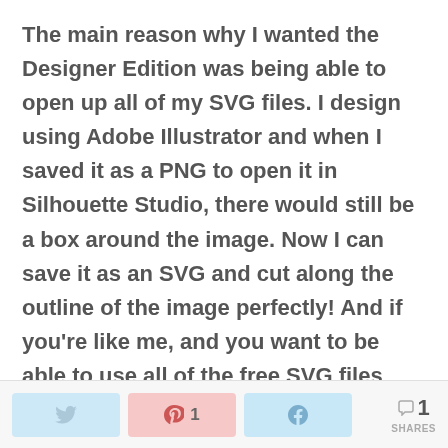The main reason why I wanted the Designer Edition was being able to open up all of my SVG files. I design using Adobe Illustrator and when I saved it as a PNG to open it in Silhouette Studio, there would still be a box around the image. Now I can save it as an SVG and cut along the outline of the image perfectly! And if you're like me, and you want to be able to use all of the free SVG files you can find online, it is totally worth it.  I find my SVG files and